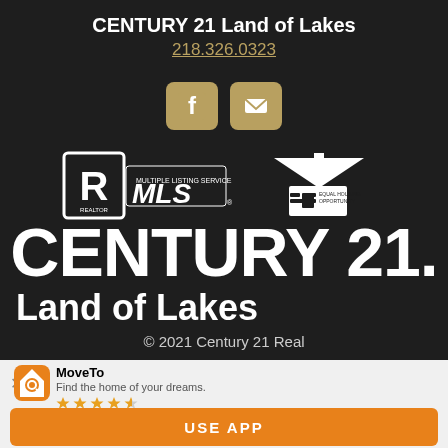CENTURY 21 Land of Lakes
218.326.0323
[Figure (logo): Facebook icon and email/envelope icon in gold rounded squares]
[Figure (logo): Realtor R logo, MLS logo, and Equal Housing Opportunity logo in white and gold]
CENTURY 21.
Land of Lakes
© 2021 Century 21 Real
MoveTo
Find the home of your dreams.
USE APP